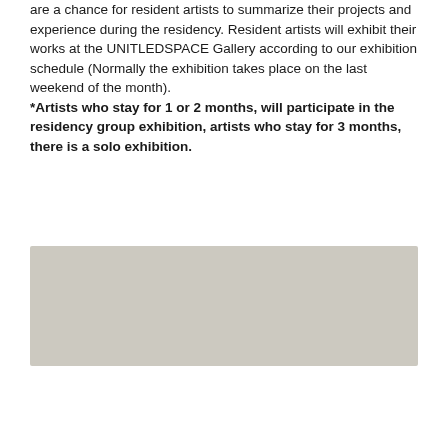are a chance for resident artists to summarize their projects and experience during the residency. Resident artists will exhibit their works at the UNITLEDSPACE Gallery according to our exhibition schedule (Normally the exhibition takes place on the last weekend of the month). *Artists who stay for 1 or 2 months, will participate in the residency group exhibition, artists who stay for 3 months, there is a solo exhibition.
[Figure (photo): A light beige/tan colored rectangular image, appearing to show a faint abstract or landscape scene.]